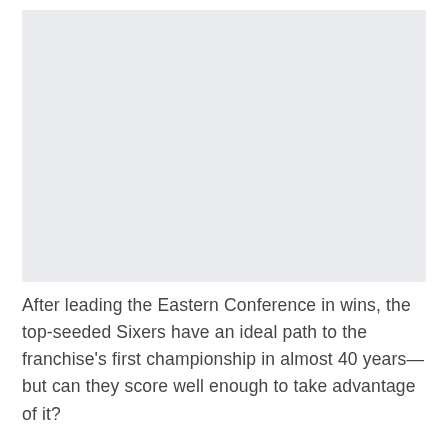[Figure (photo): Large light gray placeholder image area occupying the upper portion of the page]
After leading the Eastern Conference in wins, the top-seeded Sixers have an ideal path to the franchise's first championship in almost 40 years—but can they score well enough to take advantage of it?